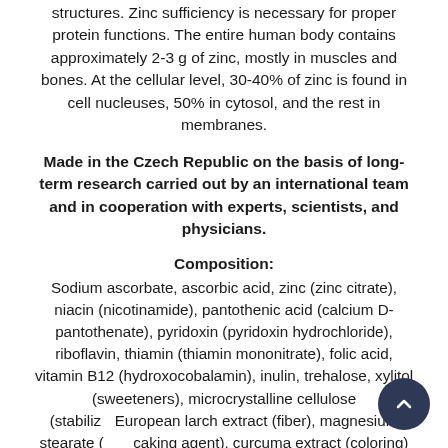structures. Zinc sufficiency is necessary for proper protein functions. The entire human body contains approximately 2-3 g of zinc, mostly in muscles and bones. At the cellular level, 30-40% of zinc is found in cell nucleuses, 50% in cytosol, and the rest in membranes.
Made in the Czech Republic on the basis of long-term research carried out by an international team and in cooperation with experts, scientists, and physicians.
Composition:
Sodium ascorbate, ascorbic acid, zinc (zinc citrate), niacin (nicotinamide), pantothenic acid (calcium D-pantothenate), pyridoxin (pyridoxin hydrochloride), riboflavin, thiamin (thiamin mononitrate), folic acid, vitamin B12 (hydroxocobalamin), inulin, trehalose, xylitol (sweeteners), microcrystalline cellulose (stabilizer), European larch extract (fiber), magnesium stearate (anti-caking agent), curcuma extract (coloring)